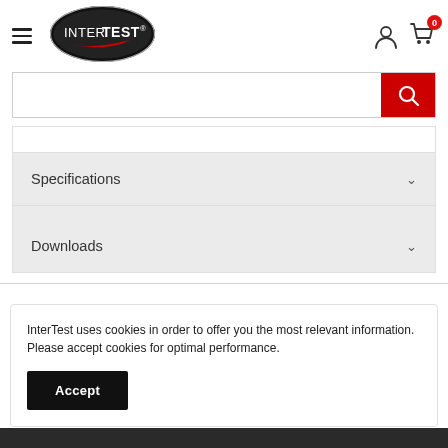[Figure (logo): InterTest logo — white text on black oval with red swoosh]
[Figure (screenshot): Search bar with red search button containing magnifying glass icon]
Specifications
Downloads
InterTest uses cookies in order to offer you the most relevant information. Please accept cookies for optimal performance.
Accept